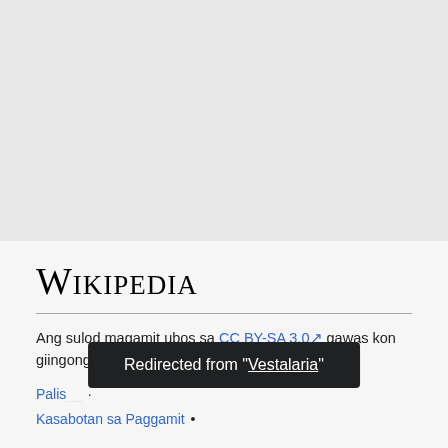Wikipedia
Ang sulod magamit ubos sa CC BY-SA 3.0 gawas kon giingong dili.
Palisiya sa Pagkapribado · Kasabotan sa Paggamit •
Redirected from "Vestalaria"